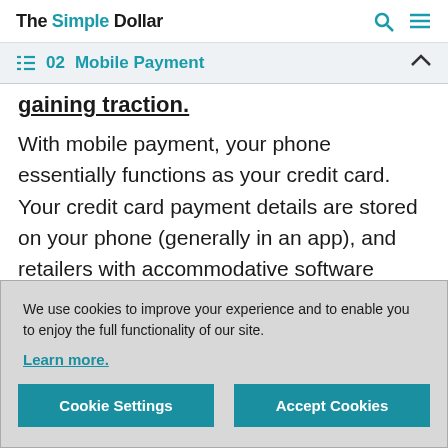The Simple Dollar
02 Mobile Payment
gaining traction.
With mobile payment, your phone essentially functions as your credit card. Your credit card payment details are stored on your phone (generally in an app), and retailers with accommodative software
We use cookies to improve your experience and to enable you to enjoy the full functionality of our site.

Learn more.

[Cookie Settings] [Accept Cookies]